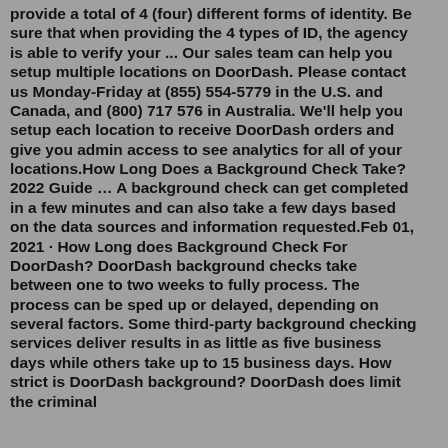provide a total of 4 (four) different forms of identity. Be sure that when providing the 4 types of ID, the agency is able to verify your ... Our sales team can help you setup multiple locations on DoorDash. Please contact us Monday-Friday at (855) 554-5779 in the U.S. and Canada, and (800) 717 576 in Australia. We'll help you setup each location to receive DoorDash orders and give you admin access to see analytics for all of your locations.How Long Does a Background Check Take? 2022 Guide … A background check can get completed in a few minutes and can also take a few days based on the data sources and information requested.Feb 01, 2021 · How Long does Background Check For DoorDash? DoorDash background checks take between one to two weeks to fully process. The process can be sped up or delayed, depending on several factors. Some third-party background checking services deliver results in as little as five business days while others take up to 15 business days. How strict is DoorDash background? DoorDash does limit the criminal